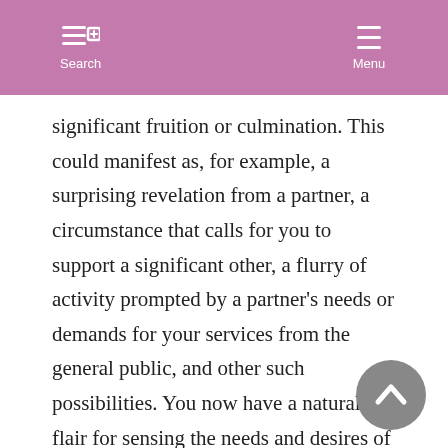Search  Menu
significant fruition or culmination. This could manifest as, for example, a surprising revelation from a partner, a circumstance that calls for you to support a significant other, a flurry of activity prompted by a partner’s needs or demands for your services from the general public, and other such possibilities. You now have a natural flair for sensing the needs and desires of the general public. You are likely to draw highly emotional and sensitive individuals into your social circle. Partnership “tests” are possible now, but so is a chance to truly connect to a special someone in your life.
[Figure (other): Scroll-to-top circular button with upward chevron arrow, grey background]